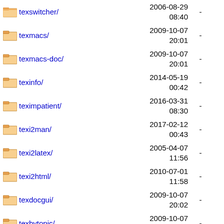texswitcher/ 2006-08-29 08:40 -
texmacs/ 2009-10-07 20:01 -
texmacs-doc/ 2009-10-07 20:01 -
texinfo/ 2014-05-19 00:42 -
teximpatient/ 2016-03-31 08:30 -
texi2man/ 2017-02-12 00:43 -
texi2latex/ 2005-04-07 11:56 -
texi2html/ 2010-07-01 11:58 -
texdocgui/ 2009-10-07 20:02 -
texbytopic/ 2009-10-07 20:02 -
tex2star/ 2009-10-07 20:02 -
tetum/ 2009-10-07